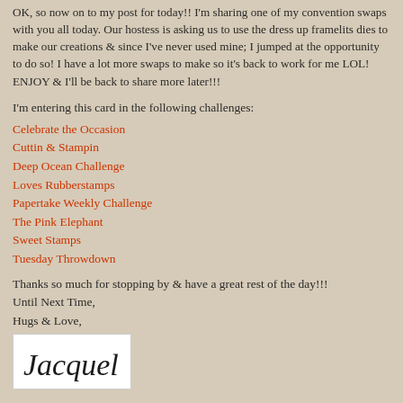OK, so now on to my post for today!!  I'm sharing one of my convention swaps with you all today.  Our hostess is asking us to use the dress up framelits dies to make our creations & since I've never used mine; I jumped at the opportunity to do so!  I have a lot more swaps to make so it's back to work for me LOL!  ENJOY & I'll be back to share more later!!!
I'm entering this card in the following challenges:
Celebrate the Occasion
Cuttin & Stampin
Deep Ocean Challenge
Loves Rubberstamps
Papertake Weekly Challenge
The Pink Elephant
Sweet Stamps
Tuesday Throwdown
Thanks so much for stopping by & have a great rest of the day!!!
Until Next Time,
Hugs & Love,
[Figure (illustration): Handwritten signature reading 'Jacquel' in cursive script on white background]